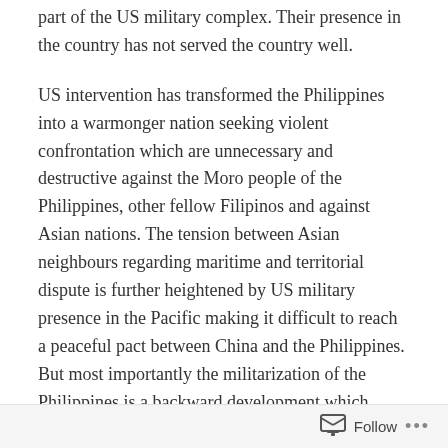part of the US military complex. Their presence in the country has not served the country well.
US intervention has transformed the Philippines into a warmonger nation seeking violent confrontation which are unnecessary and destructive against the Moro people of the Philippines, other fellow Filipinos and against Asian nations. The tension between Asian neighbours regarding maritime and territorial dispute is further heightened by US military presence in the Pacific making it difficult to reach a peaceful pact between China and the Philippines. But most importantly the militarization of the Philippines is a backward development which disregards the interests and the lives of the Filipino people. It is a fact that the positive consequences of US intervention do not outweigh the negatives.
The current record for human rights violation by the
Follow